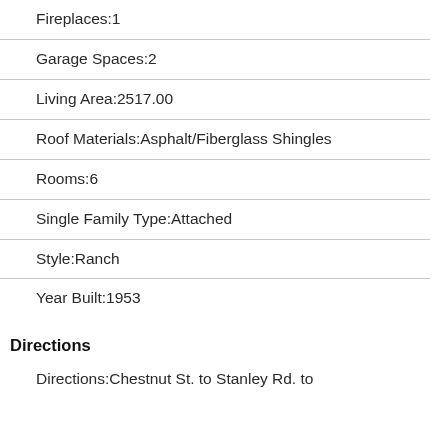Fireplaces:1
Garage Spaces:2
Living Area:2517.00
Roof Materials:Asphalt/Fiberglass Shingles
Rooms:6
Single Family Type:Attached
Style:Ranch
Year Built:1953
Directions
Directions:Chestnut St. to Stanley Rd. to